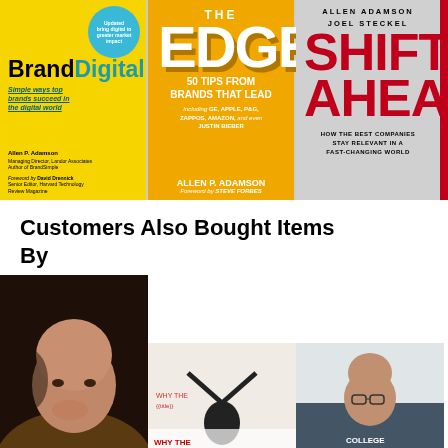[Figure (illustration): Row of book covers: BrandDigital (yellow), The Edge (orange/gold), Shift Ahead (gray with red text), and partial red cover on far right]
Customers Also Bought Items By
[Figure (photo): Headshot of bald man with hand on chin against dark background; smaller photos of two other individuals below and to the right]